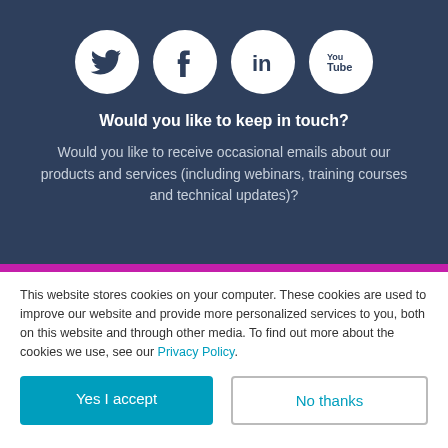[Figure (illustration): Four social media icons (Twitter, Facebook, LinkedIn, YouTube) displayed as white circles on a dark blue background]
Would you like to keep in touch?
Would you like to receive occasional emails about our products and services (including webinars, training courses and technical updates)?
This website stores cookies on your computer. These cookies are used to improve our website and provide more personalized services to you, both on this website and through other media. To find out more about the cookies we use, see our Privacy Policy.